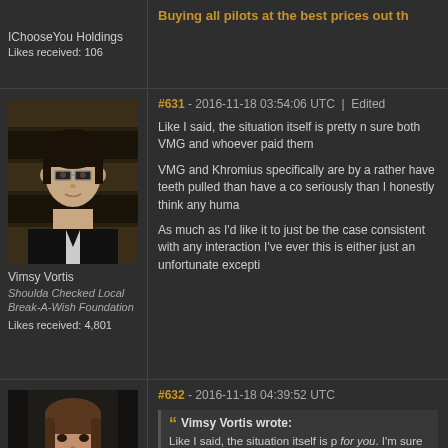IChooseYou Holdings
Likes received: 106
Buying all pilots at the best prices out th
#631 - 2016-11-18 03:54:06 UTC | Edited
[Figure (illustration): Forum avatar image of a woman with dark hair, glasses, wearing a dark top with white accents - rendered in a stylized 3D art style]
Vimsy Vortis
Shoulda Checked Local Break-A-Wish Foundation
Likes received: 4,801
Like I said, the situation itself is pretty n sure both VMG and whoever paid them
VMG and Khromius specifically are by a rather have teeth pulled than have a co seriously than I honestly think any huma
As much as I'd like it to just be the case consistent with any interaction I've ever this is either just an unfortunate excepti
#632 - 2016-11-18 04:39:52 UTC
[Figure (illustration): Forum avatar image of a woman with brown hair, rendered in stylized 3D game art style with darker tones]
Vimsy Vortis wrote:
Like I said, the situation itself is p for you. I'm sure both VMG and w